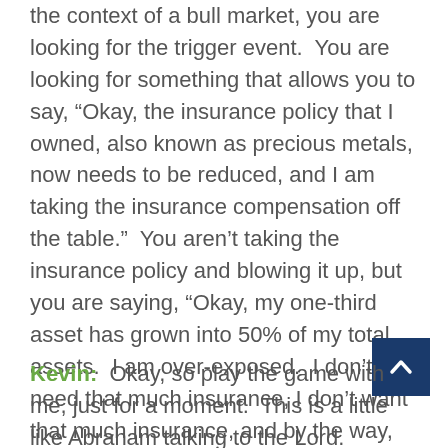the context of a bull market, you are looking for the trigger event.  You are looking for something that allows you to say, “Okay, the insurance policy that I owned, also known as precious metals, now needs to be reduced, and I am taking the insurance compensation off the table.”  You aren’t taking the insurance policy and blowing it up, but you are saying, “Okay, my one-third asset has grown into 50% of my total assets.  I am over-exposed.  I don’t need that much insurance, I don’t want that much insurance, and by the way, there is a good part of the world which is now selling at a discount.  I can take a premium asset and move into a discounted asset, and my purchasing power is leveraged in that venue.
Kevin:  Okay, so play the game with me, just for a moment.  This is a little like Abraham talking to the Lord.